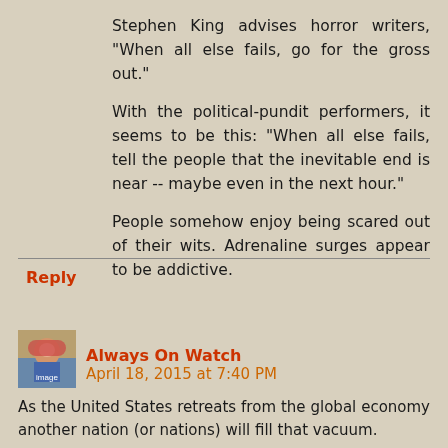Stephen King advises horror writers, "When all else fails, go for the gross out."
With the political-pundit performers, it seems to be this: "When all else fails, tell the people that the inevitable end is near -- maybe even in the next hour."
People somehow enjoy being scared out of their wits. Adrenaline surges appear to be addictive.
Reply
[Figure (photo): Small avatar image, appears to be a stylized illustration of Rosie the Riveter or similar iconic figure]
Always On Watch  April 18, 2015 at 7:40 PM
As the United States retreats from the global economy another nation (or nations) will fill that vacuum.
Also, ceding economic primacy sends the message "militarily weak." Please see Europe faces a 'real threat'